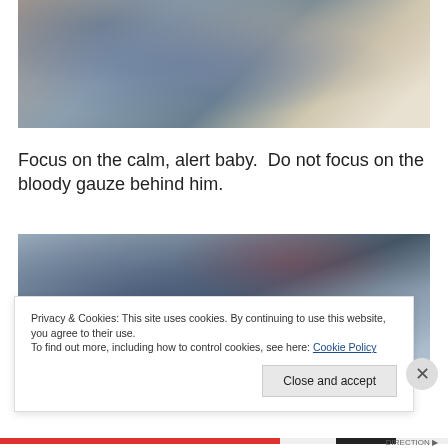[Figure (photo): Close-up photo of medical professionals in blue scrubs handling a medical device or instrument over a patient or surface.]
Focus on the calm, alert baby.  Do not focus on the bloody gauze behind him.
[Figure (photo): Operating room scene with a medical professional wearing a blue surgical cap, medical equipment and monitors visible in background.]
Privacy & Cookies: This site uses cookies. By continuing to use this website, you agree to their use.
To find out more, including how to control cookies, see here: Cookie Policy
Close and accept